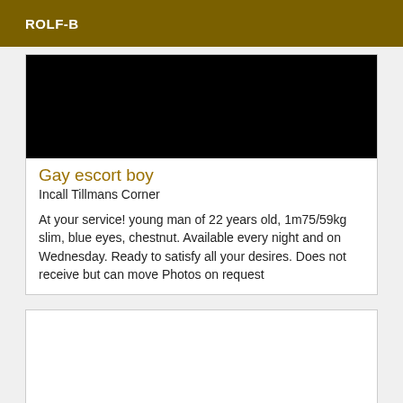ROLF-B
[Figure (photo): Black image placeholder for a photo]
Gay escort boy
Incall Tillmans Corner
At your service! young man of 22 years old, 1m75/59kg slim, blue eyes, chestnut. Available every night and on Wednesday. Ready to satisfy all your desires. Does not receive but can move Photos on request